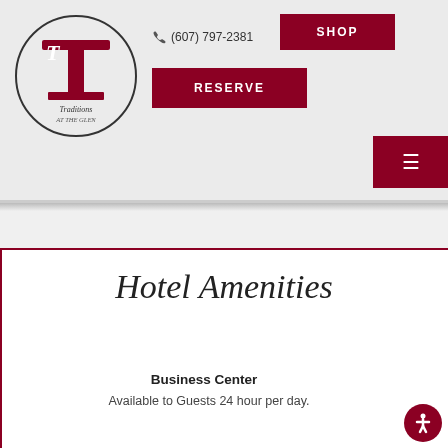[Figure (logo): Traditions at the Glen hotel logo — circular logo with a stylized red column/T shape and cursive text 'Traditions at the Glen']
(607) 797-2381
SHOP
RESERVE
≡
Hotel Amenities
Business Center
Available to Guests 24 hour per day.